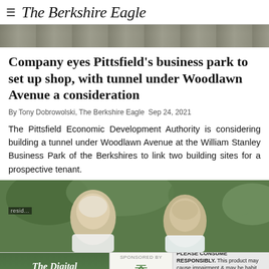≡  The Berkshire Eagle
[Figure (photo): Aerial photo showing a parking lot or road area, partial view at top of page]
Company eyes Pittsfield's business park to set up shop, with tunnel under Woodlawn Avenue a consideration
By Tony Dobrowolski, The Berkshire Eagle  Sep 24, 2021
The Pittsfield Economic Development Authority is considering building a tunnel under Woodlawn Avenue at the William Stanley Business Park of the Berkshires to link two building sites for a prospective tenant.
[Figure (photo): Photo of two men smiling outdoors with green trees in background, with advertisement overlay at bottom showing 'The Digital Herbalist' and sponsored by Berkshire Roots cannabis brand with disclaimer text]